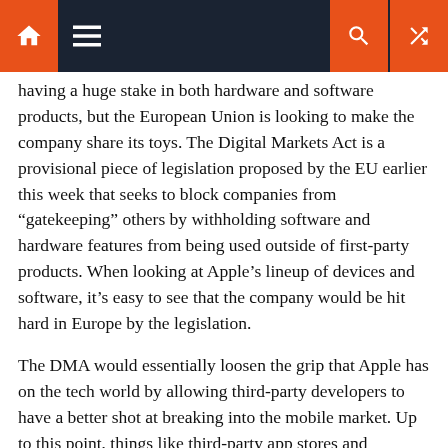Navigation bar with home, menu, search, and shuffle icons
having a huge stake in both hardware and software products, but the European Union is looking to make the company share its toys. The Digital Markets Act is a provisional piece of legislation proposed by the EU earlier this week that seeks to block companies from “gatekeeping” others by withholding software and hardware features from being used outside of first-party products. When looking at Apple’s lineup of devices and software, it’s easy to see that the company would be hit hard in Europe by the legislation.
The DMA would essentially loosen the grip that Apple has on the tech world by allowing third-party developers to have a better shot at breaking into the mobile market. Up to this point, things like third-party app stores and payment systems have been barred from being published on iOS devices, but the new legislation would obligate Apple to allow them on its platforms.